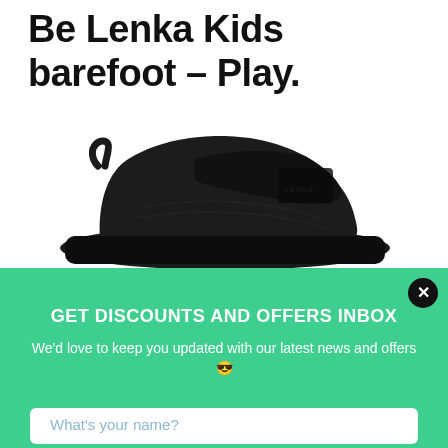Be Lenka Kids barefoot – Play.
[Figure (photo): Black children's barefoot shoe with velcro strap, suede upper, side profile view on white background]
GET DISCOUNTS AND OFFERS INBOX
We'd love to keep you updated with our latest news and offers 😎
What's your name?